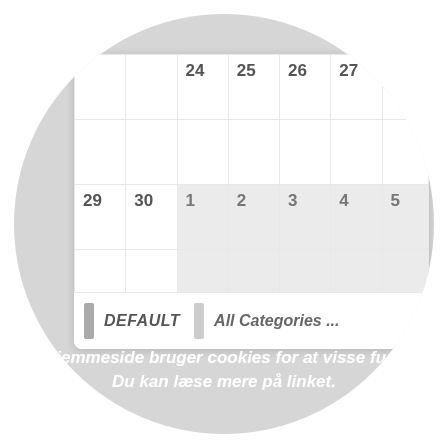[Figure (screenshot): A circular cropped screenshot showing a calendar interface with dates 24-27 in one row and 29-30 followed by 1-5 in another row. Below the calendar grid is a legend row showing 'DEFAULT' and 'All Categories ...' labels. At the bottom of the circle is a cookie notice in Danish: 's hjemmeside bruger cookies for at visse funkti... Du kan læse mere på linket.']